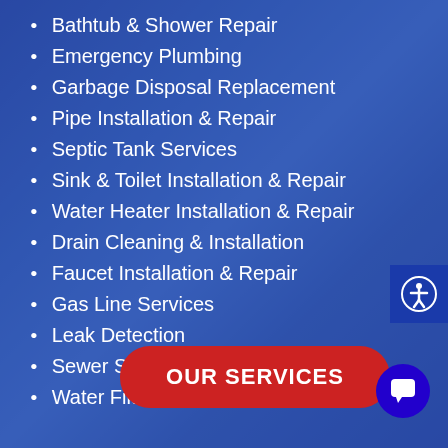Bathtub & Shower Repair
Emergency Plumbing
Garbage Disposal Replacement
Pipe Installation & Repair
Septic Tank Services
Sink & Toilet Installation & Repair
Water Heater Installation & Repair
Drain Cleaning & Installation
Faucet Installation & Repair
Gas Line Services
Leak Detection
Sewer Services
Water Filter Services
OUR SERVICES